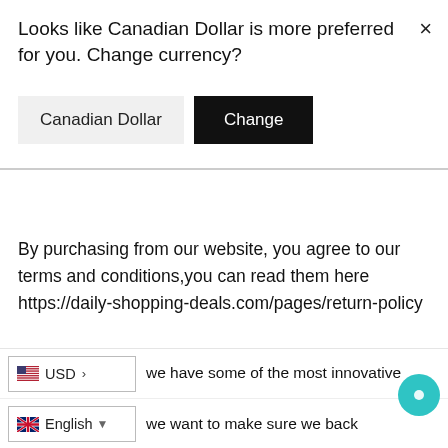Looks like Canadian Dollar is more preferred for you. Change currency?
[Figure (screenshot): Currency selector showing 'Canadian Dollar' button and black 'Change' button]
By purchasing from our website, you agree to our terms and conditions,you can read them here https://daily-shopping-deals.com/pages/return-policy
OUR GUARANTEE
we have some of the most innovative
we want to make sure we back
[Figure (screenshot): USD currency selector and English language selector at the bottom of the page, with a teal chat bubble on the right]